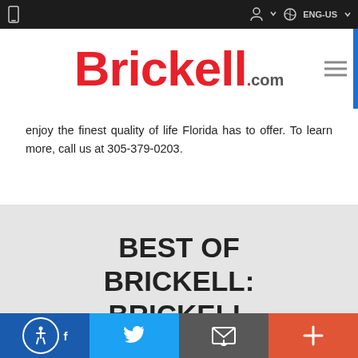[Figure (screenshot): Top navigation bar with phone icon on left, user/search/language icons on right, dark background]
[Figure (logo): Brickell.com logo in red bold text with .com suffix, white background, hamburger menu on right]
enjoy the finest quality of life Florida has to offer. To learn more, call us at 305-379-0203.
BEST OF BRICKELL: BRICKELL
[Figure (photo): Partial image strip visible at bottom of grey section]
[Figure (infographic): Bottom navigation bar with accessibility icon (blue), Twitter bird (light blue), email/message icon (grey), and plus icon (orange-red)]